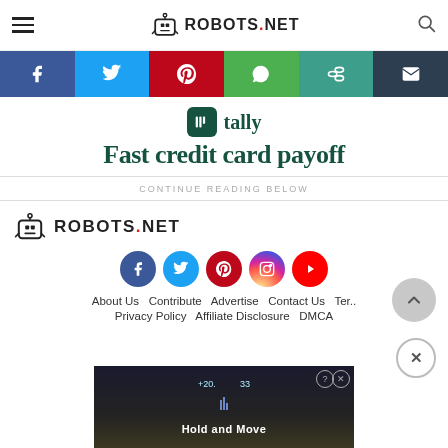ROBOTS.NET
[Figure (infographic): Social share bar with Facebook, Twitter, Pinterest, WhatsApp, copy-link, and email icons on colored backgrounds]
[Figure (infographic): Tally app advertisement with tally logo and headline: Fast credit card payoff]
CONTINUE READING BELOW
[Figure (logo): Robots.net logo in footer]
[Figure (infographic): Footer social icons: Facebook, Twitter, Pinterest, Instagram, YouTube]
About Us  Contribute  Advertise  Contact Us  Ter..
Privacy Policy  Affiliate Disclosure  DMCA
[Figure (screenshot): Bottom advertisement with Hold and Move app]